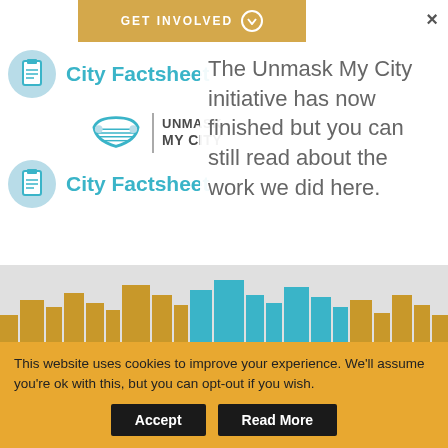[Figure (screenshot): GET INVOLVED banner button with chevron down circle icon, teal/orange color scheme]
×
[Figure (screenshot): City Factsheet item with clipboard icon in teal circle]
[Figure (logo): UNMASK MY CITY logo with mask icon and text]
[Figure (screenshot): City Factsheet item with clipboard icon in teal circle (second)]
The Unmask My City initiative has now finished but you can still read about the work we did here.
[Figure (illustration): City skyline silhouette with teal and gold buildings]
[Figure (photo): Partial image preview strip with dark blue background and yellow/gold circle]
This website uses cookies to improve your experience. We'll assume you're ok with this, but you can opt-out if you wish.
Accept
Read More